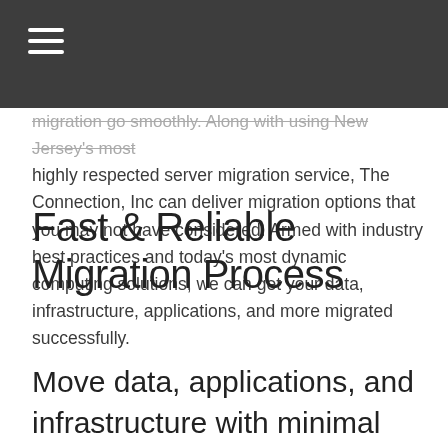≡ (navigation menu icon)
migration go smoothly. Along with using New Jersey's most highly respected server migration service, The Connection, Inc can deliver migration options that you may not have considered. Armed with industry best practices and today's most dynamic computing solutions, we can get your data, infrastructure, applications, and more migrated successfully.
Fast & Reliable Migration Process
Move data, applications, and infrastructure with minimal downtime.
Every migration is important. When moving files, applications, and whole computing platforms from one